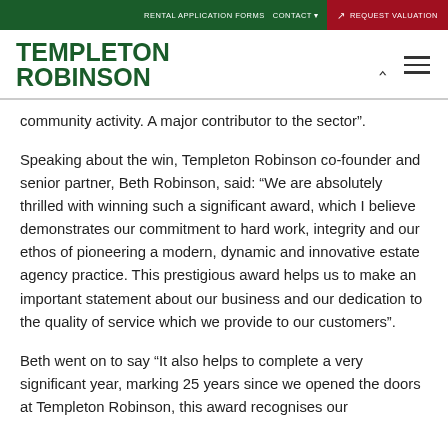RENTAL APPLICATION FORMS   CONTACT ▾   ↗ REQUEST VALUATION
TEMPLETON ROBINSON
community activity. A major contributor to the sector”.
Speaking about the win, Templeton Robinson co-founder and senior partner, Beth Robinson, said: “We are absolutely thrilled with winning such a significant award, which I believe demonstrates our commitment to hard work, integrity and our ethos of pioneering a modern, dynamic and innovative estate agency practice. This prestigious award helps us to make an important statement about our business and our dedication to the quality of service which we provide to our customers”.
Beth went on to say “It also helps to complete a very significant year, marking 25 years since we opened the doors at Templeton Robinson, this award recognises our